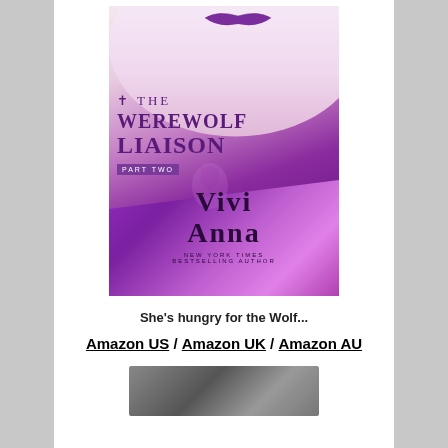[Figure (illustration): Book cover for 'The Werewolf Liaison Part Two' by Vivi Anna. Purple and pink tones featuring a woman with purple lips and purple dress fabric. Title text in purple serif font. Author name in large dark letters. Tagged 'New York Times Bestselling Author'.]
She's hungry for the Wolf...
Amazon US / Amazon UK / Amazon AU
[Figure (photo): Partial view of author photo at bottom of page, cropped.]